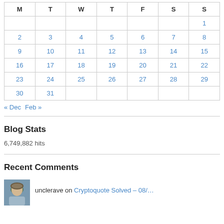| M | T | W | T | F | S | S |
| --- | --- | --- | --- | --- | --- | --- |
|  |  |  |  |  |  | 1 |
| 2 | 3 | 4 | 5 | 6 | 7 | 8 |
| 9 | 10 | 11 | 12 | 13 | 14 | 15 |
| 16 | 17 | 18 | 19 | 20 | 21 | 22 |
| 23 | 24 | 25 | 26 | 27 | 28 | 29 |
| 30 | 31 |  |  |  |  |  |
« Dec   Feb »
Blog Stats
6,749,882 hits
Recent Comments
unclerave on Cryptoquote Solved – 08/...